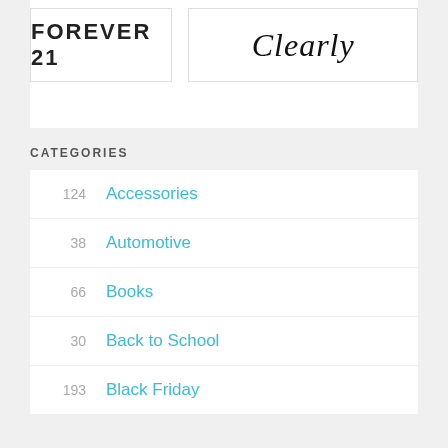[Figure (logo): Two logo boxes side by side: left shows 'FOREVER 21' in bold block letters, right shows 'Clearly' in italic serif script]
CATEGORIES
124   Accessories
38   Automotive
66   Books
30   Back to School
193   Black Friday